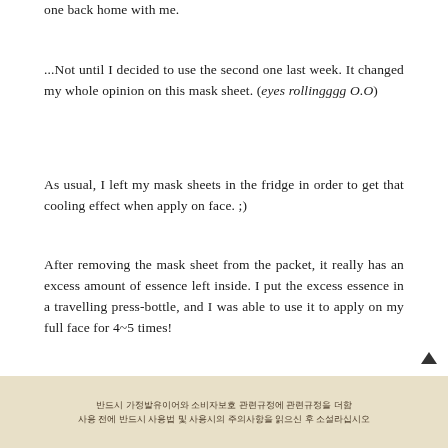one back home with me.
...Not until I decided to use the second one last week. It changed my whole opinion on this mask sheet. (eyes rollingggg O.O)
As usual, I left my mask sheets in the fridge in order to get that cooling effect when apply on face. ;)
After removing the mask sheet from the packet, it really has an excess amount of essence left inside. I put the excess essence in a travelling press-bottle, and I was able to use it to apply on my full face for 4~5 times!
[Figure (photo): A beige/cream colored product packet or label with Korean text visible, partially cut off at the bottom of the page.]